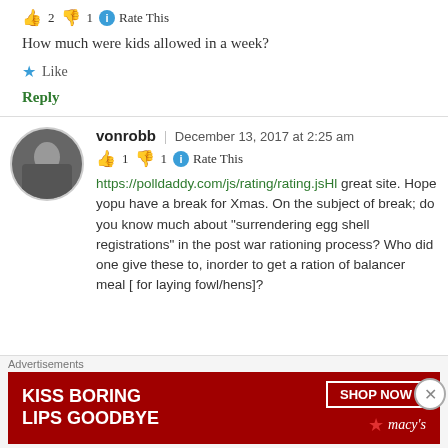👍 2 👎 1 ℹ Rate This
How much were kids allowed in a week?
★ Like
Reply
vonrobb | December 13, 2017 at 2:25 am
👍 1 👎 1 ℹ Rate This
https://polldaddy.com/js/rating/rating.jsHl great site. Hope yopu have a break for Xmas. On the subject of break; do you know much about "surrendering egg shell registrations" in the post war rationing process? Who did one give these to, inorder to get a ration of balancer meal [ for laying fowl/hens]?
Advertisements
[Figure (other): Macy's advertisement banner: KISS BORING LIPS GOODBYE with SHOP NOW button and Macy's logo]